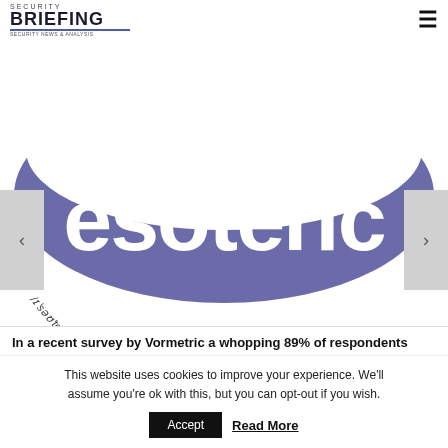SECURITY BRIEFING
[Figure (logo): Esoteric logo: large purple text 'esoteric' with a curved swoosh underneath, and italic text '/ɪˈsəʊˈterɪk/ a. intelligible only to those with special knowledge' curved along the bottom arc]
In a recent survey by Vormetric a whopping 89% of respondents
This website uses cookies to improve your experience. We'll assume you're ok with this, but you can opt-out if you wish.
Accept  Read More